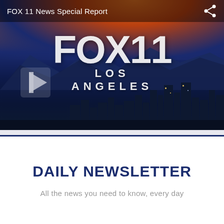FOX 11 News Special Report
[Figure (screenshot): FOX 11 Los Angeles TV station branding image showing the FOX 11 logo over a dramatic cityscape of Los Angeles at dusk with mountains in background and a play button overlay on the left side.]
DAILY NEWSLETTER
All the news you need to know, every day